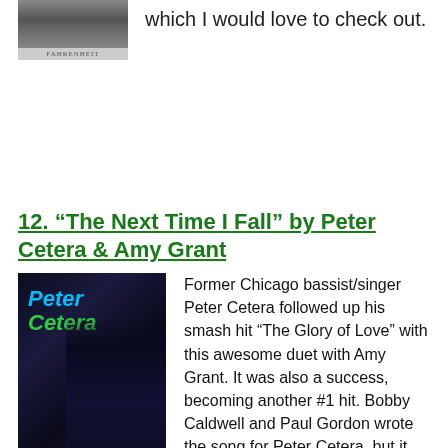[Figure (photo): Small album cover image at top left with caption text below]
which I would love to check out.
12. “The Next Time I Fall” by Peter Cetera & Amy Grant
[Figure (photo): Album cover for Peter Cetera showing his name in blue and green text over a dark photo of a man in a suit]
Former Chicago bassist/singer Peter Cetera followed up his smash hit “The Glory of Love” with this awesome duet with Amy Grant. It was also a success, becoming another #1 hit. Bobby Caldwell and Paul Gordon wrote the song for Peter Cetera, but it also didn’t